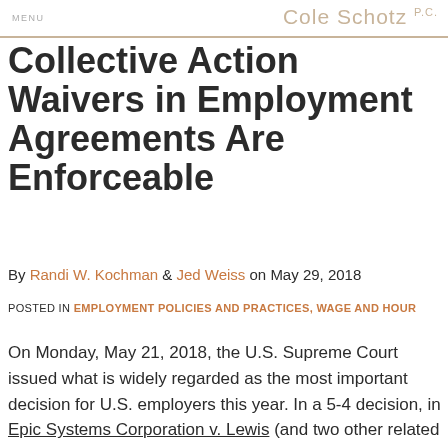Cole Schotz P.C.
Collective Action Waivers in Employment Agreements Are Enforceable
By Randi W. Kochman & Jed Weiss on May 29, 2018
POSTED IN EMPLOYMENT POLICIES AND PRACTICES, WAGE AND HOUR
On Monday, May 21, 2018, the U.S. Supreme Court issued what is widely regarded as the most important decision for U.S. employers this year.  In a 5-4 decision, in Epic Systems Corporation v. Lewis (and two other related matters), Justice Neil Gorsuch, writing for the majority, held that workplace employment agreements that bar